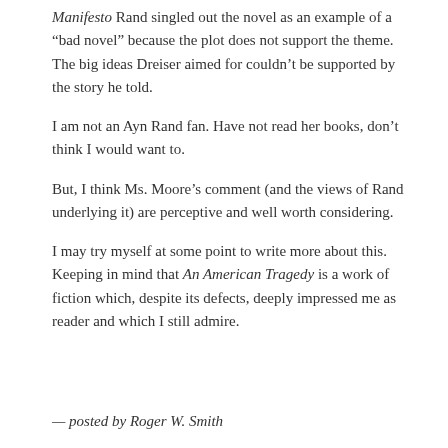Manifesto Rand singled out the novel as an example of a “bad novel” because the plot does not support the theme. The big ideas Dreiser aimed for couldn’t be supported by the story he told.
I am not an Ayn Rand fan. Have not read her books, don’t think I would want to.
But, I think Ms. Moore’s comment (and the views of Rand underlying it) are perceptive and well worth considering.
I may try myself at some point to write more about this. Keeping in mind that An American Tragedy is a work of fiction which, despite its defects, deeply impressed me as reader and which I still admire.
— posted by Roger W. Smith